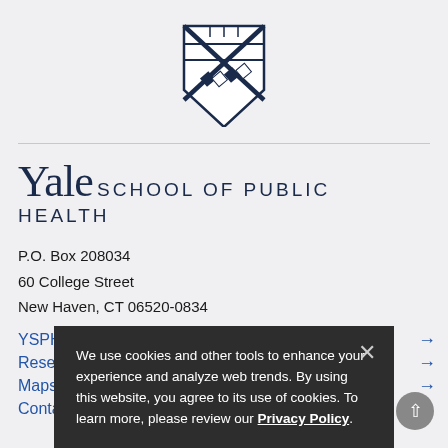[Figure (logo): Yale University shield/crest logo in dark navy blue]
Yale SCHOOL OF PUBLIC HEALTH
P.O. Box 208034
60 College Street
New Haven, CT 06520-0834
YSPH Calendar →
Reserve a Room →
Maps →
Contact Us →
We use cookies and other tools to enhance your experience and analyze web trends. By using this website, you agree to its use of cookies. To learn more, please review our Privacy Policy.